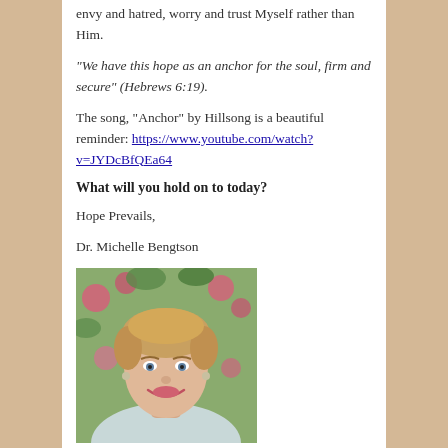envy and hatred, worry and trust Myself rather than Him.
“We have this hope as an anchor for the soul, firm and secure” (Hebrews 6:19).
The song, “Anchor” by Hillsong is a beautiful reminder: https://www.youtube.com/watch?v=JYDcBfQEa64
What will you hold on to today?
Hope Prevails,
Dr. Michelle Bengtson
[Figure (photo): Portrait photo of Dr. Michelle Bengtson, a woman with short blonde hair, smiling, with pink flowers and green foliage in the background.]